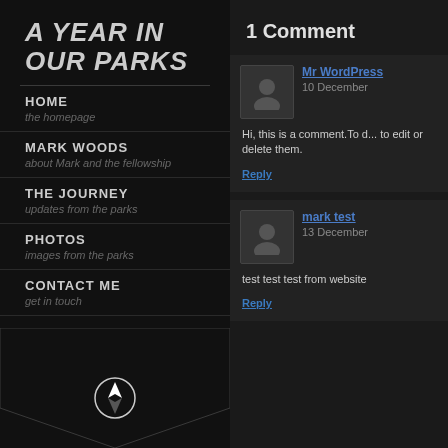A YEAR IN OUR PARKS
HOME
the homepage
MARK WOODS
about Mark and the fellowship
THE JOURNEY
updates from the parks
PHOTOS
images from the parks
CONTACT ME
get in touch
1 Comment
Mr WordPress
10 December
Hi, this is a comment.To d... to edit or delete them.
Reply
mark test
13 December
test test test from website
Reply